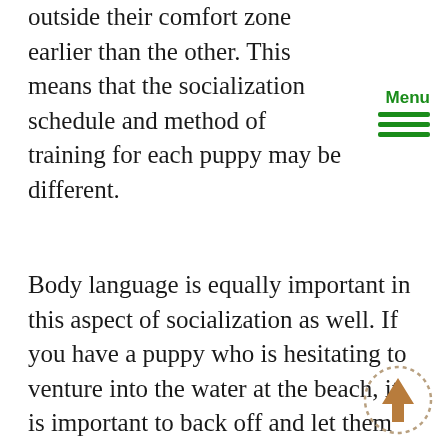outside their comfort zone earlier than the other. This means that the socialization schedule and method of training for each puppy may be different.
Body language is equally important in this aspect of socialization as well. If you have a puppy who is hesitating to venture into the water at the beach, it is important to back off and let them proceed at the correct pace. This is still true if your other dog immediately jumped into the water at first sight. While it might be tempting to pick them up and force them into the water (creating a negative experience) or to lure them into the water with a food